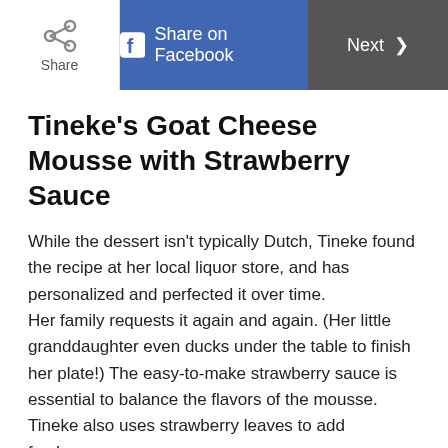Share | Share on Facebook | Next
Tineke’s Goat Cheese Mousse with Strawberry Sauce
While the dessert isn’t typically Dutch, Tineke found the recipe at her local liquor store, and has personalized and perfected it over time. Her family requests it again and again. (Her little granddaughter even ducks under the table to finish her plate!) The easy-to-make strawberry sauce is essential to balance the flavors of the mousse. Tineke also uses strawberry leaves to add freshness.